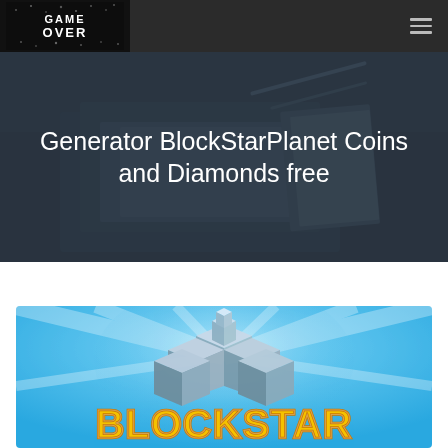[Figure (logo): Game Over logo on dark background in navigation bar]
Generator BlockStarPlanet Coins and Diamonds free
[Figure (screenshot): BlockStar game logo with blue sky background, 3D block cube planet, and yellow BLOCKSTAR text]